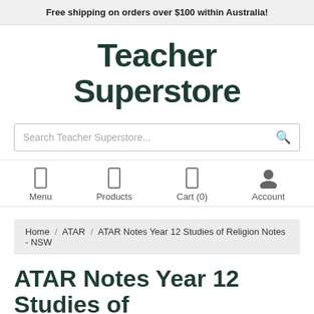Free shipping on orders over $100 within Australia!
Teacher Superstore
Search Teacher Superstore...
Menu  Products  Cart (0)  Account
Home / ATAR / ATAR Notes Year 12 Studies of Religion Notes - NSW
ATAR Notes Year 12 Studies of